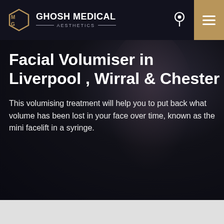GHOSH MEDICAL AESTHETICS
[Figure (photo): Dark background with blurred portrait of a person, used as hero image for a medical aesthetics website]
Facial Volumiser in Liverpool , Wirral & Chester
This volumising treatment will help you to put back what volume has been lost in your face over time, known as the mini facelift in a syringe.